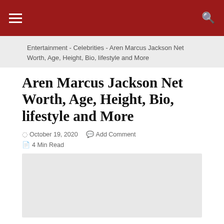☰  [nav] Q
Entertainment - Celebrities - Aren Marcus Jackson Net Worth, Age, Height, Bio, lifestyle and More
Aren Marcus Jackson Net Worth, Age, Height, Bio, lifestyle and More
October 19, 2020   Add Comment
4 Min Read
[Figure (photo): Light grey placeholder image box for article content]